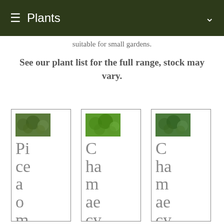≡ Plants ∨
suitable for small gardens.
See our plant list for the full range, stock may vary.
[Figure (photo): Plant card 1 with green foliage thumbnail and text 'Piceamorik']
[Figure (photo): Plant card 2 with green foliage thumbnail and text 'Chamaecypari']
[Figure (photo): Plant card 3 with green foliage thumbnail and text 'Chamaecypari']